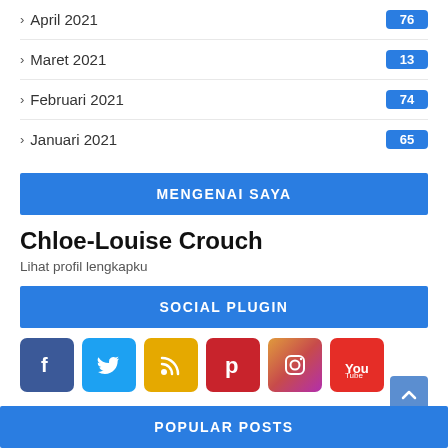April 2021 76
Maret 2021 13
Februari 2021 74
Januari 2021 65
MENGENAI SAYA
Chloe-Louise Crouch
Lihat profil lengkapku
SOCIAL PLUGIN
[Figure (infographic): Row of 6 social media icons: Facebook (dark blue), Twitter (light blue), RSS (yellow/orange), Pinterest (red), Instagram (gradient), YouTube (red)]
POPULAR POSTS